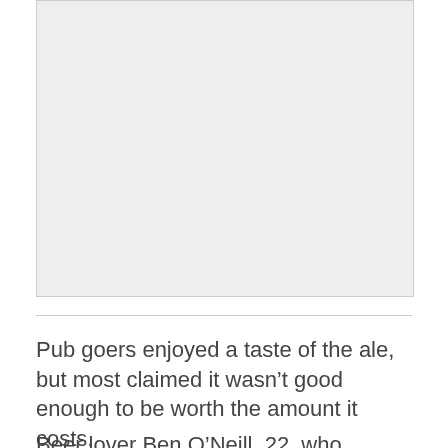[Figure (photo): A placeholder grey image area representing a photograph on the page.]
Pub goers enjoyed a taste of the ale, but most claimed it wasn’t good enough to be worth the amount it costs.
Beer lover Ben O’Neill, 22, who manages The